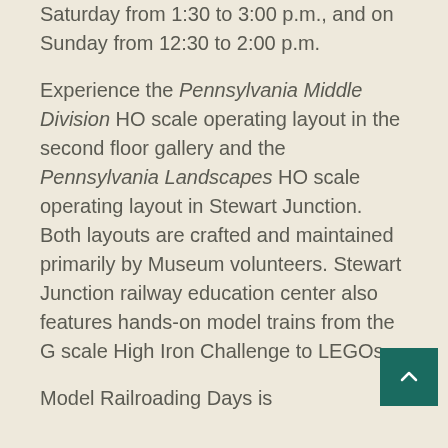Saturday from 1:30 to 3:00 p.m., and on Sunday from 12:30 to 2:00 p.m.
Experience the Pennsylvania Middle Division HO scale operating layout in the second floor gallery and the Pennsylvania Landscapes HO scale operating layout in Stewart Junction. Both layouts are crafted and maintained primarily by Museum volunteers. Stewart Junction railway education center also features hands-on model trains from the G scale High Iron Challenge to LEGOs.
Model Railroading Days is
[Figure (other): Teal/dark green back-to-top button with upward chevron arrow, positioned bottom right]